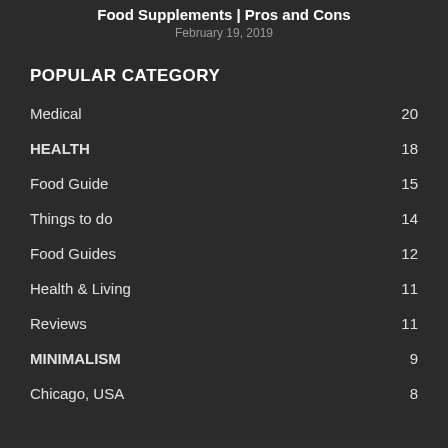Food Supplements | Pros and Cons
February 19, 2019
POPULAR CATEGORY
Medical 20
HEALTH 18
Food Guide 15
Things to do 14
Food Guides 12
Health & Living 11
Reviews 11
MINIMALISM 9
Chicago, USA 8